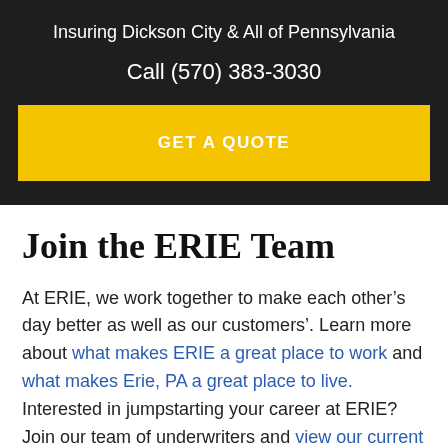Insuring Dickson City & All of Pennsylvania
Call (570) 383-3030
GET A QUOTE
Join the ERIE Team
At ERIE, we work together to make each other’s day better as well as our customers’. Learn more about what makes ERIE a great place to work and what makes Erie, PA a great place to live. Interested in jumpstarting your career at ERIE? Join our team of underwriters and view our current job opportunities